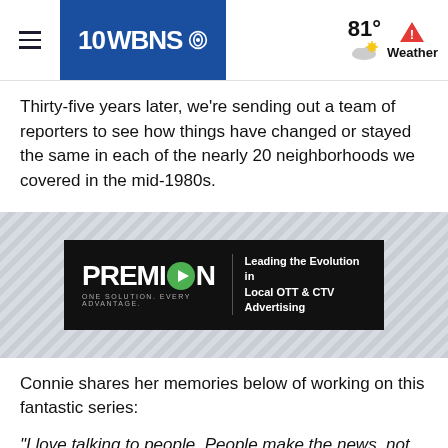10WBNS CBS — 81° Weather
Thirty-five years later, we're sending out a team of reporters to see how things have changed or stayed the same in each of the nearly 20 neighborhoods we covered in the mid-1980s.
[Figure (other): PREMION advertisement banner — 'Leading the Evolution in Local OTT & CTV Advertising. ONE SOLUTION. EVERY ADVANTAGE.']
Connie shares her memories below of working on this fantastic series:
"I love talking to people. People make the news, not newscasters. They simply report how we live our lives. But sometimes it enriches that picture to add a little perspective by not just looking at where we are today, but